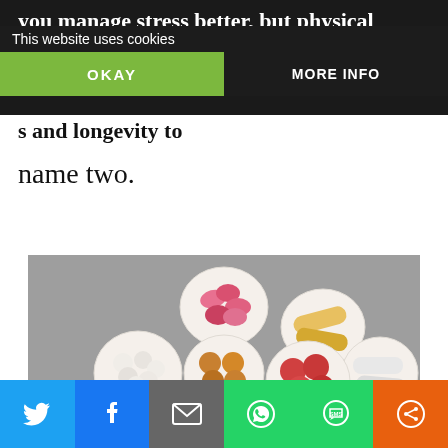you manage stress better, but physical exercise will pack a punch of many other benefits and longevity to name two.
This website uses cookies
OKAY
MORE INFO
s and longevity to
name two.
[Figure (photo): Seven white ceramic cups/bowls viewed from above, arranged in a circular pattern on a grey background, each containing different types and colors of pills and capsules: pink tablets, yellow capsules, white capsules, orange round tablets, red round tablets, brown tablets, pale yellow tablets, and white small tablets.]
[Figure (infographic): Social sharing bar with icons for Twitter (blue), Facebook (dark blue), Email (grey), WhatsApp (green), SMS (green), and a share icon (orange).]